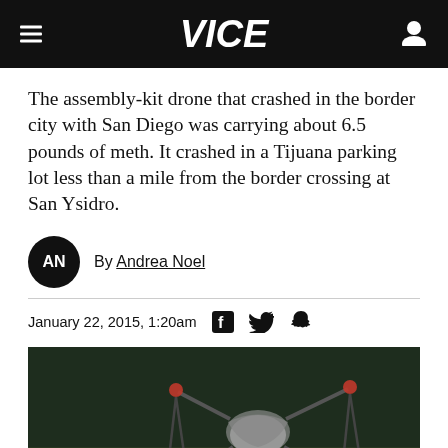VICE
The assembly-kit drone that crashed in the border city with San Diego was carrying about 6.5 pounds of meth. It crashed in a Tijuana parking lot less than a mile from the border crossing at San Ysidro.
By Andrea Noel
January 22, 2015, 1:20am
[Figure (photo): A crashed multi-rotor drone with white packages (meth) lying on a dark parking lot surface at night. The drone has multiple arms/rotors and cargo strapped to it, photographed in low light conditions.]